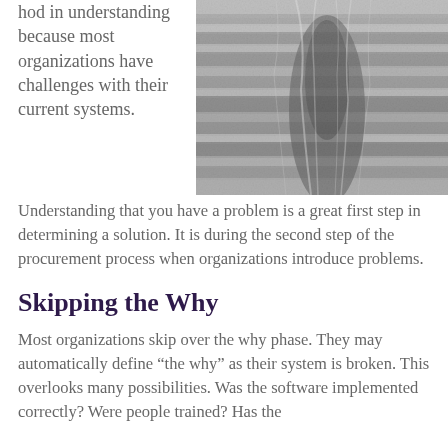hod in understanding because most organizations have challenges with their current systems. Understanding that you have a problem is a great first step in determining a solution. It is during the second step of the procurement process when organizations introduce problems.
[Figure (photo): Black and white close-up photograph of layered rock formations or canyon walls with textured, eroded surfaces.]
Skipping the Why
Most organizations skip over the why phase. They may automatically define “the why” as their system is broken. This overlooks many possibilities. Was the software implemented correctly? Were people trained? Has the